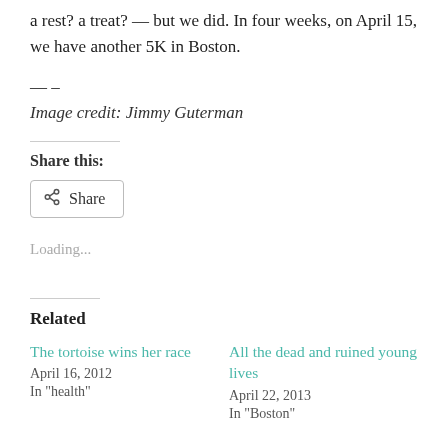a rest? a treat? — but we did. In four weeks, on April 15, we have another 5K in Boston.
— –
Image credit: Jimmy Guterman
Share this:
Share
Loading...
Related
The tortoise wins her race
April 16, 2012
In "health"
All the dead and ruined young lives
April 22, 2013
In "Boston"